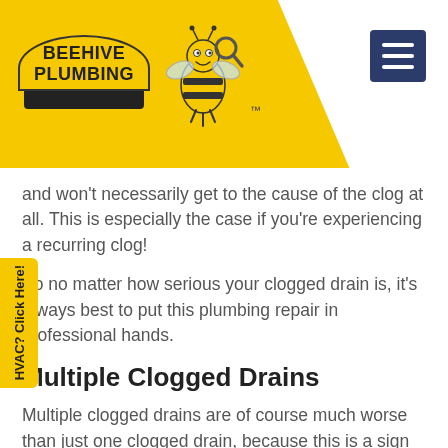[Figure (logo): Beehive Plumbing logo with yellow beehive shape, bee mascot holding a wrench, and TM mark on yellow header background with hamburger menu button]
and won't necessarily get to the cause of the clog at all. This is especially the case if you're experiencing a recurring clog!
So no matter how serious your clogged drain is, it's always best to put this plumbing repair in professional hands.
Multiple Clogged Drains
Multiple clogged drains are of course much worse than just one clogged drain, because this is a sign that you're experiencing a serious blockage that's deep within your plumbing system.